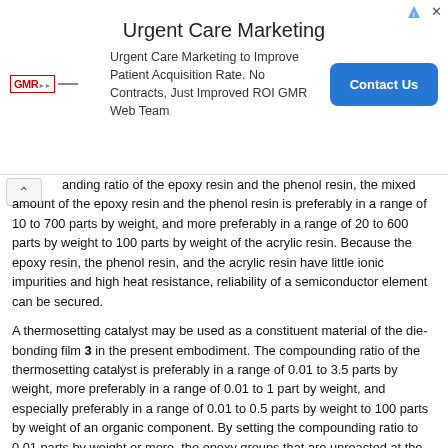[Figure (other): Advertisement banner for Urgent Care Marketing by GMR Web Team with a Contact Us button]
anding ratio of the epoxy resin and the phenol resin, the mixed amount of the epoxy resin and the phenol resin is preferably in a range of 10 to 700 parts by weight, and more preferably in a range of 20 to 600 parts by weight to 100 parts by weight of the acrylic resin. Because the epoxy resin, the phenol resin, and the acrylic resin have little ionic impurities and high heat resistance, reliability of a semiconductor element can be secured.
A thermosetting catalyst may be used as a constituent material of the die-bonding film 3 in the present embodiment. The compounding ratio of the thermosetting catalyst is preferably in a range of 0.01 to 3.5 parts by weight, more preferably in a range of 0.01 to 1 part by weight, and especially preferably in a range of 0.01 to 0.5 parts by weight to 100 parts by weight of an organic component. By setting the compounding ratio to 0.01 parts by weight or more, the epoxy groups that are unreacted at the time of die bonding can be polymerized by the post curing step, for example, and the unreacted epoxy groups can be reduced or eliminated. As a result, a semiconductor device can be manufactured in which a semiconductor element is securely adhered and fixed onto an adherend (described later in detail) and would not be peeled from the adherend. On the other hand, by